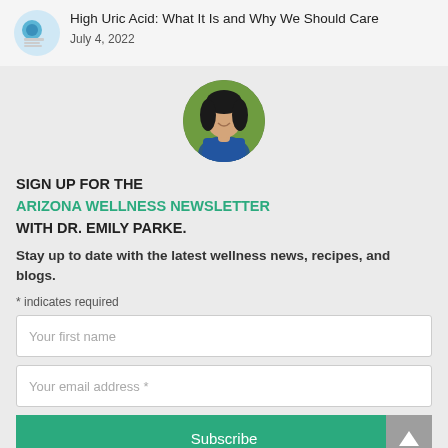High Uric Acid: What It Is and Why We Should Care
July 4, 2022
[Figure (photo): Circular portrait photo of Dr. Emily Parke, a woman with dark hair wearing a blue top, posed outdoors with green foliage background]
SIGN UP FOR THE ARIZONA WELLNESS NEWSLETTER WITH DR. EMILY PARKE.
Stay up to date with the latest wellness news, recipes, and blogs.
* indicates required
Your first name
Your email address *
Subscribe